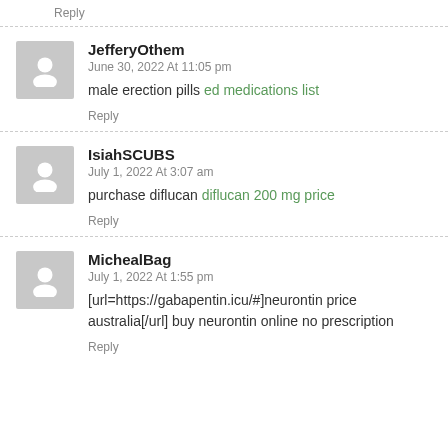Reply
JefferyOthem
June 30, 2022 At 11:05 pm
male erection pills ed medications list
Reply
IsiahSCUBS
July 1, 2022 At 3:07 am
purchase diflucan diflucan 200 mg price
Reply
MichealBag
July 1, 2022 At 1:55 pm
[url=https://gabapentin.icu/#]neurontin price australia[/url] buy neurontin online no prescription
Reply